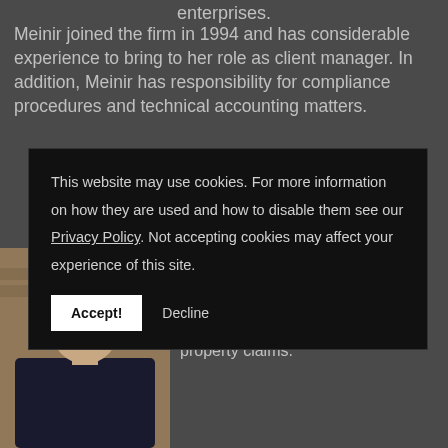enterprises.
Meinir joined the firm in 1994 and has considerable experience to bring to her role as client manager. In addition, Meinir has responsibility for compliance procedures and technical accounting matters.
This website may use cookies. For more information on how they are used and how to disable them see our Privacy Policy. Not accepting cookies may affect your experience of this site.
Accept! Decline
[Figure (photo): Portrait photo of a woman with short brown hair against a brick wall background, wearing a dark top]
Carol worked for fourteen years for a major insurance firm where she held a senior position specialising in commercial and property claims.